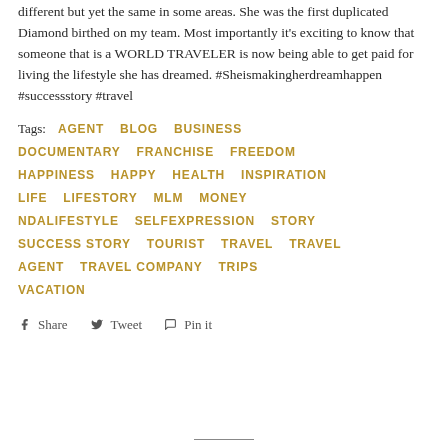different but yet the same in some areas. She was the first duplicated Diamond birthed on my team. Most importantly it's exciting to know that someone that is a WORLD TRAVELER is now being able to get paid for living the lifestyle she has dreamed. #Sheismakingherdreamhappen #successstory #travel
Tags: AGENT  BLOG  BUSINESS  DOCUMENTARY  FRANCHISE  FREEDOM  HAPPINESS  HAPPY  HEALTH  INSPIRATION  LIFE  LIFESTORY  MLM  MONEY  NDALIFESTYLE  SELFEXPRESSION  STORY  SUCCESS STORY  TOURIST  TRAVEL  TRAVEL AGENT  TRAVEL COMPANY  TRIPS  VACATION
Share  Tweet  Pin it